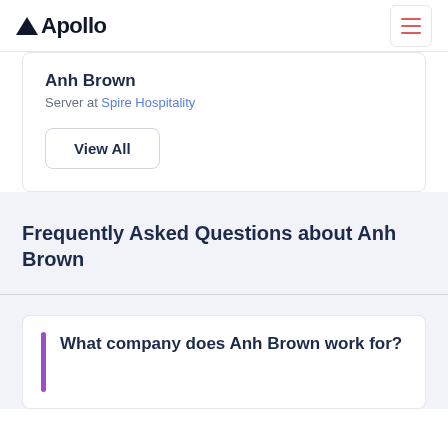Apollo
Anh Brown
Server at Spire Hospitality
View All
Frequently Asked Questions about Anh Brown
What company does Anh Brown work for?